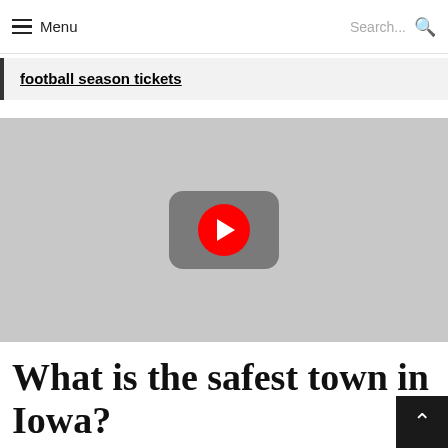Menu  Search...
football season tickets
[Figure (screenshot): YouTube video player thumbnail with gray background and red YouTube play button icon in center]
What is the safest town in Iowa?